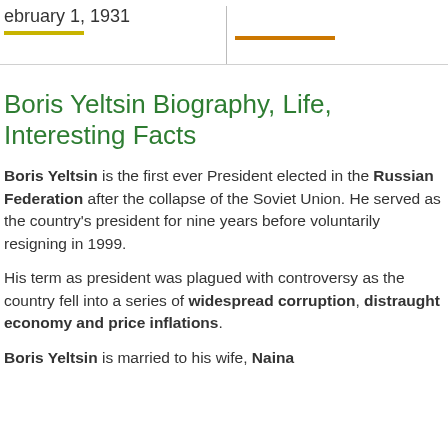ebruary 1, 1931
Boris Yeltsin Biography, Life, Interesting Facts
Boris Yeltsin is the first ever President elected in the Russian Federation after the collapse of the Soviet Union. He served as the country's president for nine years before voluntarily resigning in 1999.
His term as president was plagued with controversy as the country fell into a series of widespread corruption, distraught economy and price inflations.
Boris Yeltsin is married to his wife, Naina